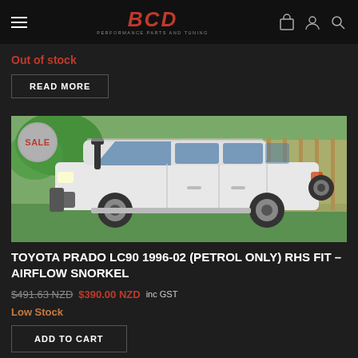BCD PERFORMANCE PARTS AND TUNING
Out of stock
READ MORE
[Figure (photo): White Toyota Prado LC90 SUV parked on grass with a snorkel fitted on the right-hand side, tropical plants and a fence in the background. A circular SALE badge is overlaid on the top-left.]
TOYOTA PRADO LC90 1996-02 (PETROL ONLY) RHS FIT – AIRFLOW SNORKEL
$491.63 NZD $390.00 NZD inc GST
Low Stock
ADD TO CART